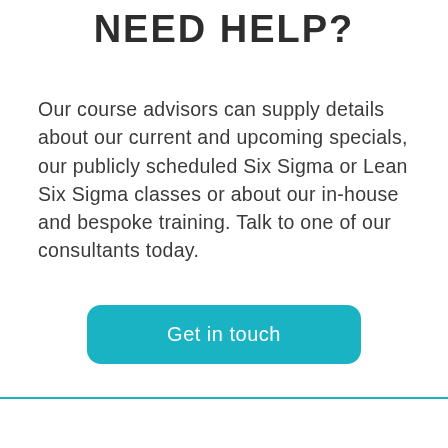NEED HELP?
Our course advisors can supply details about our current and upcoming specials, our publicly scheduled Six Sigma or Lean Six Sigma classes or about our in-house and bespoke training. Talk to one of our consultants today.
Get in touch